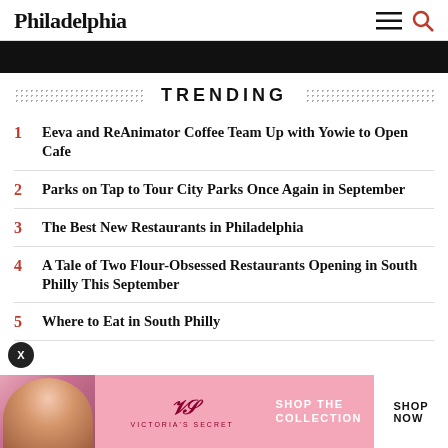Philadelphia
[Figure (photo): Partial dark hero image at top]
TRENDING
1 Eeva and ReAnimator Coffee Team Up with Yowie to Open Cafe
2 Parks on Tap to Tour City Parks Once Again in September
3 The Best New Restaurants in Philadelphia
4 A Tale of Two Flour-Obsessed Restaurants Opening in South Philly This September
5 Where to Eat in South Philly
[Figure (photo): Victoria's Secret advertisement banner with model, VS logo, and SHOP THE COLLECTION / SHOP NOW button]